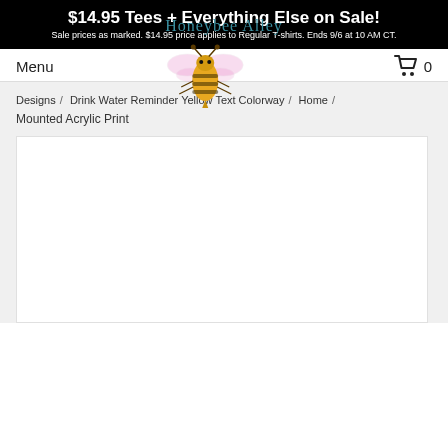$14.95 Tees + Everything Else on Sale!
Sale prices as marked. $14.95 price applies to Regular T-shirts. Ends 9/6 at 10 AM CT.
[Figure (logo): Honeybee Alley logo with script text and golden honeybee illustration]
Menu
0
Designs  /  Drink Water Reminder Yellow Text Colorway  /  Home  /  Mounted Acrylic Print
[Figure (photo): White product image area for Mounted Acrylic Print]